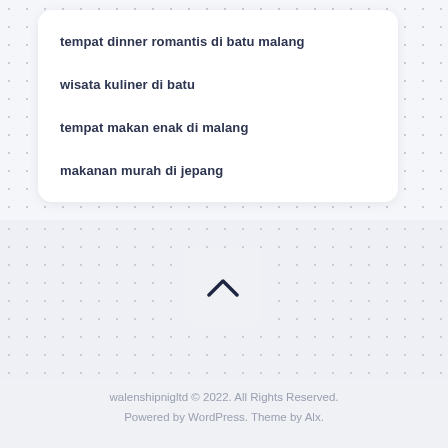tempat dinner romantis di batu malang
wisata kuliner di batu
tempat makan enak di malang
makanan murah di jepang
[Figure (other): Scroll-to-top button with upward chevron arrow icon]
walenshipnigltd © 2022. All Rights Reserved. Powered by WordPress. Theme by Alx.